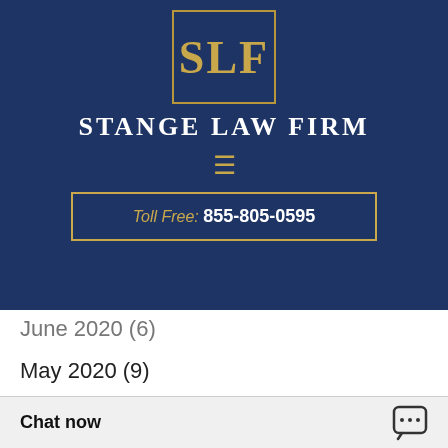[Figure (logo): Stange Law Firm logo: gold SLF letters in a gold-bordered box on dark navy background, with firm name below]
Toll Free: 855-805-0595
June 2020 (6)
May 2020 (9)
April 2020 (8)
March 2020 (7)
February 2020 (6)
January 2020 (6)
December 2019 (8)
November 2019 (6)
Chat now